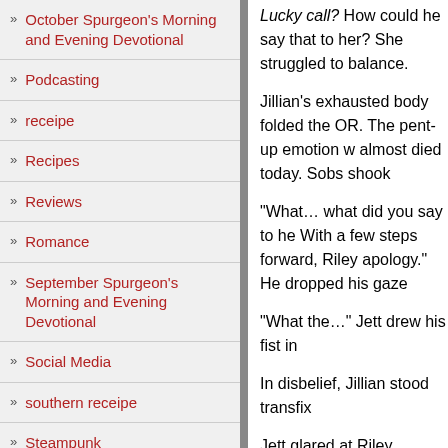October Spurgeon's Morning and Evening Devotional
Podcasting
receipe
Recipes
Reviews
Romance
September Spurgeon's Morning and Evening Devotional
Social Media
southern receipe
Steampunk
Streams in the Desert
Lucky call? How could he say that to her? She struggled to balance.
Jillian's exhausted body folded the OR. The pent-up emotion w almost died today. Sobs shook
"What… what did you say to he With a few steps forward, Riley apology." He dropped his gaze
"What the…" Jett drew his fist in
In disbelief, Jillian stood transfix
Jett glared at Riley, tapping his you are, you lowlife?"
She bit her lip and rushed to the happening.